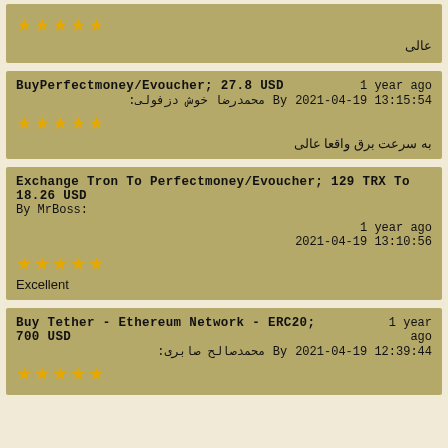★★★★★ عالی
BuyPerfectmoney/Evoucher; 27.8 USD | By: محمدرضا خوش دزفولی | 1 year ago | 2021-04-19 13:15:54 | ★★★★★ | به سرعت برق واقعا عالی
Exchange Tron To Perfectmoney/Evoucher; 129 TRX To 18.26 USD | By MrBoss: | 1 year ago | 2021-04-19 13:10:56 | ★★★★★ | Excellent
Buy Tether - Ethereum Network - ERC20; 700 USD | By: محمدصالح صابری | 1 year ago | 2021-04-19 12:39:44 | ★★★★★